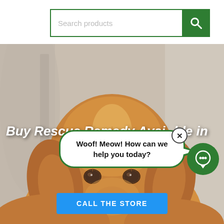[Figure (screenshot): Search bar with green border and green search button with magnifying glass icon, placeholder text 'Search products']
[Figure (photo): Close-up photo of a golden retriever dog's face looking at the camera, with blurred indoor background]
Buy Rescue Remedy Available in
Woof! Meow! How can we help you today?
CALL THE STORE